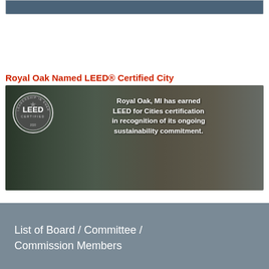[Figure (other): Dark steel-blue header bar at top of page]
Royal Oak Named LEED® Certified City
[Figure (photo): LEED Certified badge on left overlaid on a street scene photo of Royal Oak, MI downtown. Text overlay reads: Royal Oak, MI has earned LEED for Cities certification in recognition of its ongoing sustainability commitment.]
List of Board / Committee / Commission Members